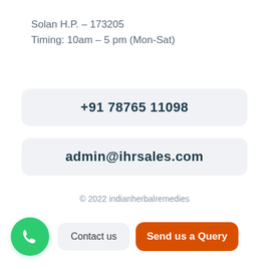Solan H.P. – 173205
Timing: 10am – 5 pm (Mon-Sat)
+91 78765 11098
admin@ihrsales.com
© 2022 indianherbalremedies
Contact us
Send us a Query